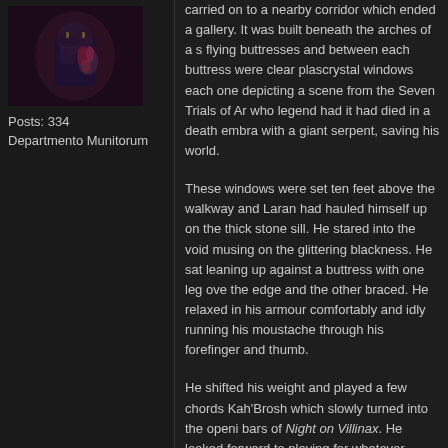[Figure (photo): Avatar image showing a dark fantasy/sci-fi armored figure with glowing elements]
Posts: 334
Departmento Munitorum
carried on to a nearby corridor which ended a gallery. It was built beneath the arches of a s flying buttresses and between each buttress were clear plascrystal windows each one depicting a scene from the Seven Trials of Ar who legend had it had died in a death embra with a giant serpent, saving his world.

These windows were set ten feet above the walkway and Laran had hauled himself up on the thick stone sill. He stared into the void musing on the glittering blackness. He sat leaning up against a buttress with one leg ove the edge and the other braced. He relaxed in his armour comfortably and idly running his moustache through his forefinger and thumb.

He shifted his weight and played a few chords Kah'Brosh which slowly turned into the openi bars of Night on Villinax. He looked forward to playing for whatever enemies the Inquisition wanted them to destroy, to see even the mos simple and common prayer become a shimmering wall of death that dropped foes to their knees before the Emperor's Chosen wa awesome thing. He hoped their adversaries